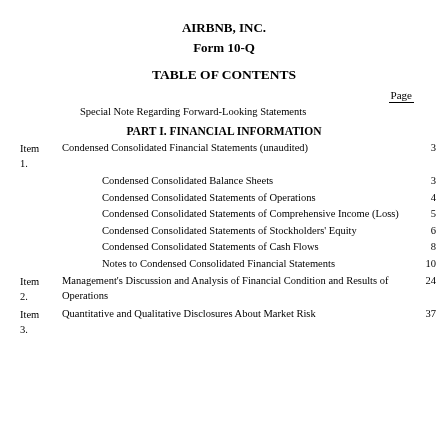AIRBNB, INC.
Form 10-Q
TABLE OF CONTENTS
Page
Special Note Regarding Forward-Looking Statements
PART I. FINANCIAL INFORMATION
Item 1.	Condensed Consolidated Financial Statements (unaudited)	3
Condensed Consolidated Balance Sheets	3
Condensed Consolidated Statements of Operations	4
Condensed Consolidated Statements of Comprehensive Income (Loss)	5
Condensed Consolidated Statements of Stockholders' Equity	6
Condensed Consolidated Statements of Cash Flows	8
Notes to Condensed Consolidated Financial Statements	10
Item 2.	Management's Discussion and Analysis of Financial Condition and Results of Operations	24
Item 3.	Quantitative and Qualitative Disclosures About Market Risk	37